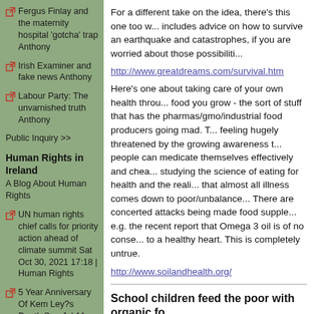Fergus Finlay and the maternity hospital 'gotcha' trap Anthony
Irish Examiner and fake news Anthony
Labour Party: The unvarnished truth Anthony
Public Inquiry >>
Human Rights in Ireland
A Blog About Human Rights
UN human rights chief calls for priority action ahead of climate summit Sat Oct 30, 2021 17:18 | Human Rights
5 Year Anniversary Of Kem Ley?s Death Sun Jul 11, 2021 12:34 |
For a different take on the idea, there's this one too w... includes advice on how to survive an earthquake and catastrophes, if you are worried about those possibiliti...
http://www.greatdreams.com/survival.htm
Here's one about taking care of your own health throu... food you grow - the sort of stuff that has the pharmas/gmo/industrial food producers going mad. T... feeling hugely threatened by the growing awareness t... people can medicate themselves effectively and chea... studying the science of eating for health and the reali... that almost all illness comes down to poor/unbalance... There are concerted attacks being made food supple... e.g. the recent report that Omega 3 oil is of no conse... to a healthy heart. This is completely untrue.
http://www.soilandhealth.org/
School children feed the poor with organic fo...
by Nina Munitoz - Gleaners Coalition   Tue May 09, 21:15
School children are establishing organic gardens and contributing the food to the poor. Volunteers are need... http://pr.indymedia.org/news/2006/05/15947.php
How to establish organic school gardens